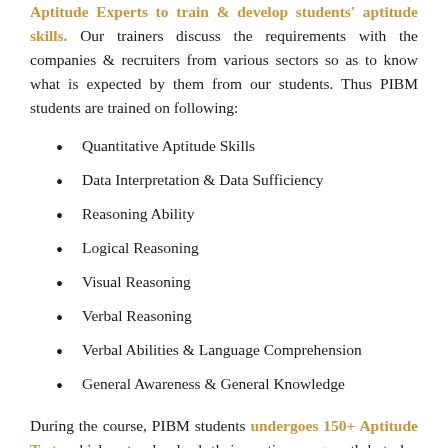Aptitude Experts to train & develop students' aptitude skills. Our trainers discuss the requirements with the companies & recruiters from various sectors so as to know what is expected by them from our students. Thus PIBM students are trained on following:
Quantitative Aptitude Skills
Data Interpretation & Data Sufficiency
Reasoning Ability
Logical Reasoning
Visual Reasoning
Verbal Reasoning
Verbal Abilities & Language Comprehension
General Awareness & General Knowledge
During the course, PIBM students undergoes 150+ Aptitude Tests which not only check their continuous growth but also gives them regular feedback on the